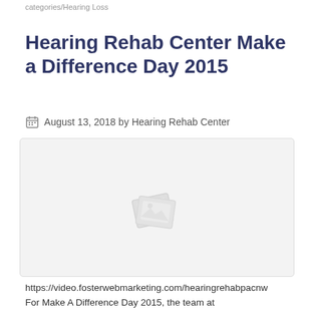categories/Hearing Loss
Hearing Rehab Center Make a Difference Day 2015
August 13, 2018 by Hearing Rehab Center
[Figure (photo): Placeholder image (broken/missing image icon) inside a light gray bordered container]
https://video.fosterwebmarketing.com/hearingrehabpacnw... For Make A Difference Day 2015, the team at Hearing Rehab Center provided hearing aids to